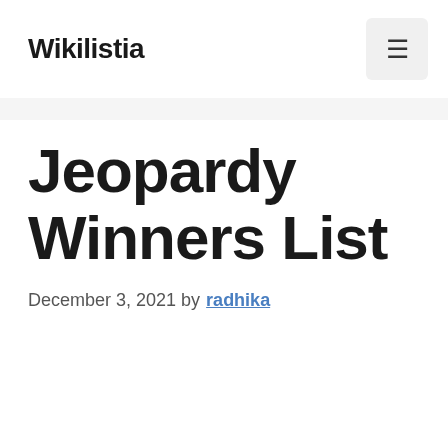Wikilistia
Jeopardy Winners List
December 3, 2021 by radhika